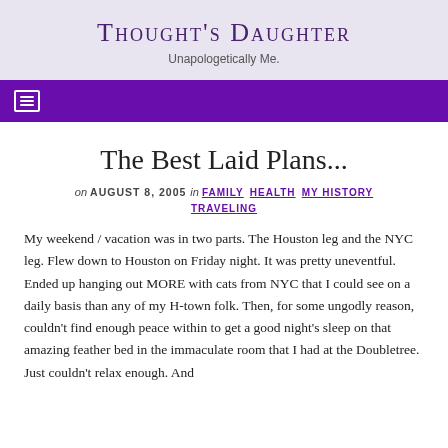Thought's Daughter
Unapologetically Me.
The Best Laid Plans...
on AUGUST 8, 2005 in FAMILY HEALTH MY HISTORY TRAVELING
My weekend / vacation was in two parts. The Houston leg and the NYC leg. Flew down to Houston on Friday night. It was pretty uneventful. Ended up hanging out MORE with cats from NYC that I could see on a daily basis than any of my H-town folk. Then, for some ungodly reason, couldn't find enough peace within to get a good night's sleep on that amazing feather bed in the immaculate room that I had at the Doubletree. Just couldn't relax enough. And